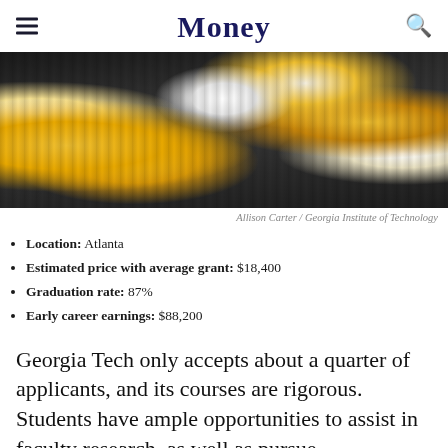Money
[Figure (photo): Graduation ceremony photo showing students in black robes holding gold and white balloons, celebrating commencement at Georgia Institute of Technology]
Allison Carter / Georgia Institute of Technology
Location: Atlanta
Estimated price with average grant: $18,400
Graduation rate: 87%
Early career earnings: $88,200
Georgia Tech only accepts about a quarter of applicants, and its courses are rigorous. Students have ample opportunities to assist in faculty research, as well as pursue